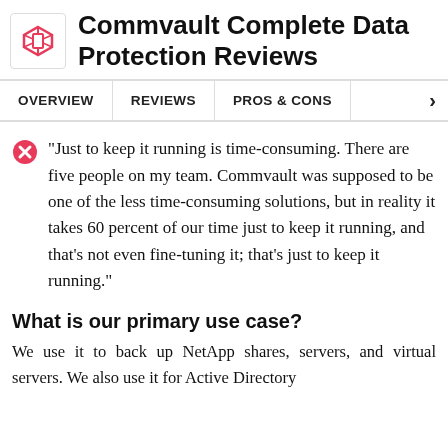Commvault Complete Data Protection Reviews
OVERVIEW | REVIEWS | PROS & CONS
"Just to keep it running is time-consuming. There are five people on my team. Commvault was supposed to be one of the less time-consuming solutions, but in reality it takes 60 percent of our time just to keep it running, and that's not even fine-tuning it; that's just to keep it running."
What is our primary use case?
We use it to back up NetApp shares, servers, and virtual servers. We also use it for Active Directory